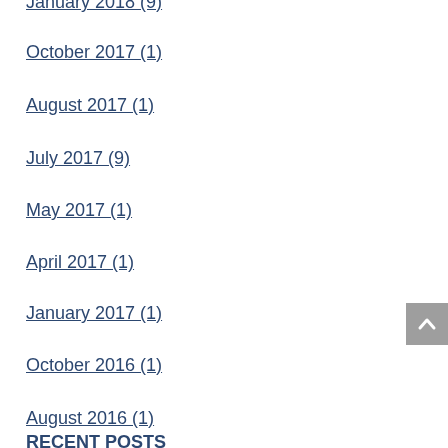January 2018 (9)
October 2017 (1)
August 2017 (1)
July 2017 (9)
May 2017 (1)
April 2017 (1)
January 2017 (1)
October 2016 (1)
August 2016 (1)
RECENT POSTS